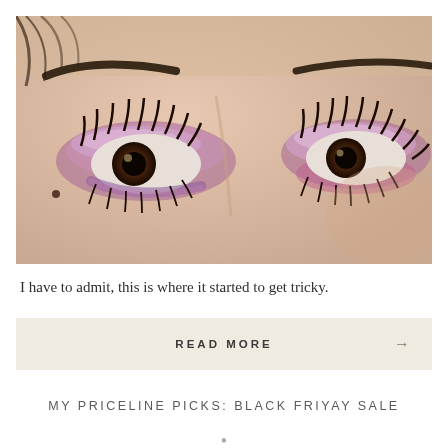[Figure (photo): Close-up photograph of a woman's eyes with purple/pink shimmer eyeshadow and heavy mascara, brown eyes, dark eyebrows visible against a light skin background.]
I have to admit, this is where it started to get tricky.
READ MORE →
MY PRICELINE PICKS: BLACK FRIYAY SALE